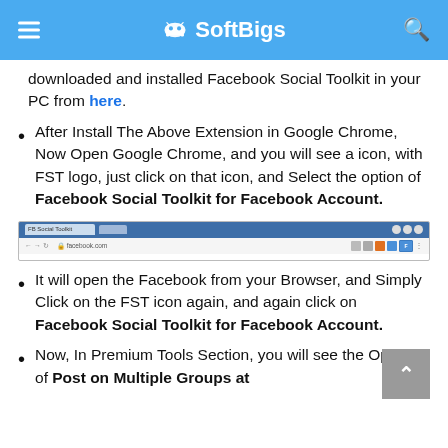SoftBigs
downloaded and installed Facebook Social Toolkit in your PC from here.
After Install The Above Extension in Google Chrome, Now Open Google Chrome, and you will see a icon, with FST logo, just click on that icon, and Select the option of Facebook Social Toolkit for Facebook Account.
[Figure (screenshot): Screenshot of Google Chrome browser showing a tab and address bar with Facebook Social Toolkit extension icon visible]
It will open the Facebook from your Browser, and Simply Click on the FST icon again, and again click on Facebook Social Toolkit for Facebook Account.
Now, In Premium Tools Section, you will see the Option of Post on Multiple Groups at